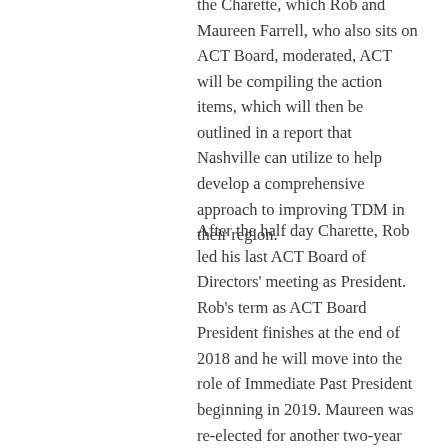the Charette, which Rob and Maureen Farrell, who also sits on ACT Board, moderated, ACT will be compiling the action items, which will then be outlined in a report that Nashville can utilize to help develop a comprehensive approach to improving TDM in their region.
After the half day Charette, Rob led his last ACT Board of Directors' meeting as President. Rob's term as ACT Board President finishes at the end of 2018 and he will move into the role of Immediate Past President beginning in 2019. Maureen was re-elected for another two-year term on the ACT Board of Directors.